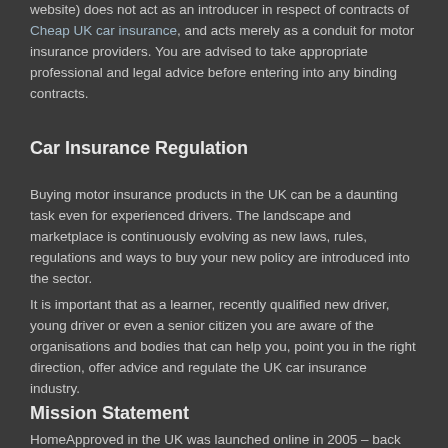website) does not act as an introducer in respect of contracts of Cheap UK car insurance, and acts merely as a conduit for motor insurance providers. You are advised to take appropriate professional and legal advice before entering into any binding contracts.
Car Insurance Regulation
Buying motor insurance products in the UK can be a daunting task even for experienced drivers. The landscape and marketplace is continuously evolving as new laws, rules, regulations and ways to buy your new policy are introduced into the sector.
It is important that as a learner, recently qualified new driver, young driver or even a senior citizen you are aware of the organisations and bodies that can help you, point you in the right direction, offer advice and regulate the UK car insurance industry.
Mission Statement
HomeApproved in the UK was launched online in 2005 – back when